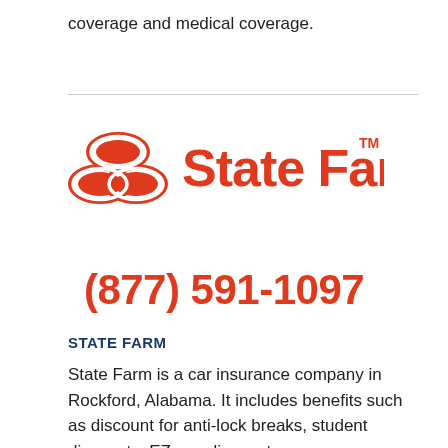coverage and medical coverage.
[Figure (logo): State Farm logo with three red ovals and 'State Farm' text in red with TM mark]
(877) 591-1097
STATE FARM
State Farm is a car insurance company in Rockford, Alabama. It includes benefits such as discount for anti-lock breaks, student discounts, EZ pay discount, new